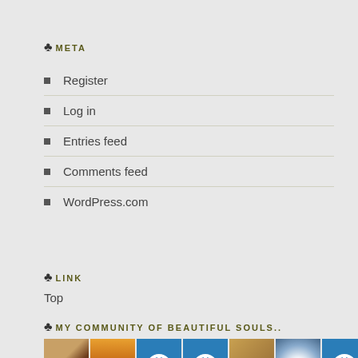♣ META
Register
Log in
Entries feed
Comments feed
WordPress.com
♣ LINK
Top
♣ MY COMMUNITY OF BEAUTIFUL SOULS..
[Figure (photo): Grid of community member avatar thumbnails including profile photos, power/WordPress icons, and other images arranged in a 7-column grid.]